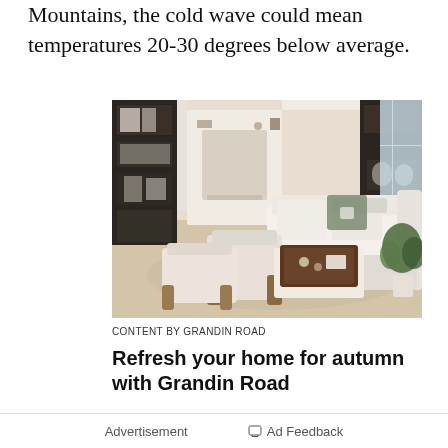Mountains, the cold wave could mean temperatures 20-30 degrees below average.
[Figure (photo): A bright, modern living room with white sofas, wooden accent chairs, a dark tray coffee table, a white fireplace, dark bookshelves, a potted plant, and large windows.]
CONTENT BY GRANDIN ROAD
Refresh your home for autumn with Grandin Road
Advertisement   Ad Feedback